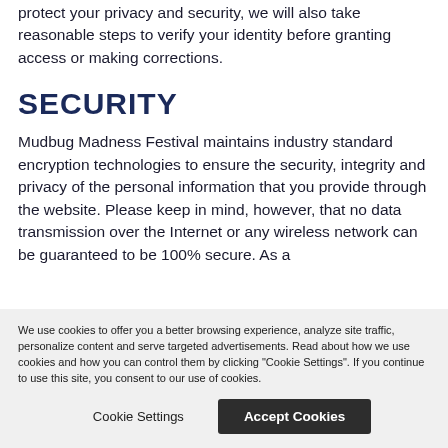mailing us at mudbugmadness@bahnrissom. To protect your privacy and security, we will also take reasonable steps to verify your identity before granting access or making corrections.
SECURITY
Mudbug Madness Festival maintains industry standard encryption technologies to ensure the security, integrity and privacy of the personal information that you provide through the website. Please keep in mind, however, that no data transmission over the Internet or any wireless network can be guaranteed to be 100% secure. As a
We use cookies to offer you a better browsing experience, analyze site traffic, personalize content and serve targeted advertisements. Read about how we use cookies and how you can control them by clicking "Cookie Settings". If you continue to use this site, you consent to our use of cookies.